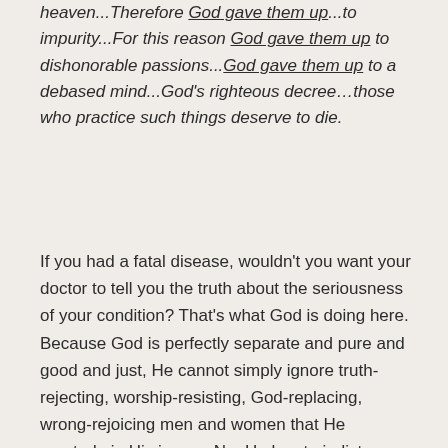heaven...Therefore God gave them up...to impurity...For this reason God gave them up to dishonorable passions...God gave them up to a debased mind...God's righteous decree…those who practice such things deserve to die.
If you had a fatal disease, wouldn't you want your doctor to tell you the truth about the seriousness of your condition? That's what God is doing here. Because God is perfectly separate and pure and good and just, He cannot simply ignore truth-rejecting, worship-resisting, God-replacing, wrong-rejoicing men and women that He created...in His image. No, He has to indict us, and find us guilty, and sentence us to eternal punishment.